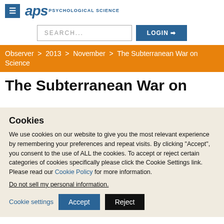[Figure (logo): APS Psychological Science logo with menu icon]
[Figure (screenshot): Search input field and Login button]
Observer > 2013 > November > The Subterranean War on Science
The Subterranean War on
Cookies
We use cookies on our website to give you the most relevant experience by remembering your preferences and repeat visits. By clicking “Accept”, you consent to the use of ALL the cookies. To accept or reject certain categories of cookies specifically please click the Cookie Settings link. Please read our Cookie Policy for more information.
Do not sell my personal information.
Cookie settings   Accept   Reject